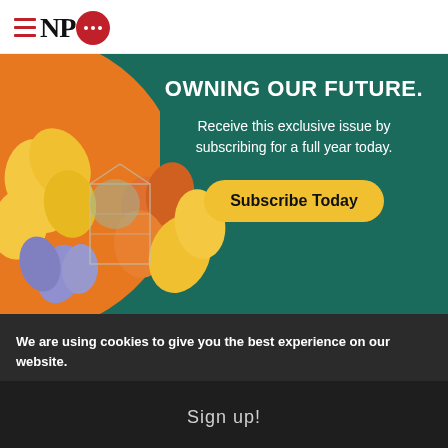NPQ logo with hamburger menu
[Figure (illustration): NPQ subscription advertisement banner with teal background, orange arc on left, floral illustration, text 'OWNING OUR FUTURE. Receive this exclusive issue by subscribing for a full year today.' and a yellow 'Subscribe Today' button]
We are using cookies to give you the best experience on our website.
Sign up!